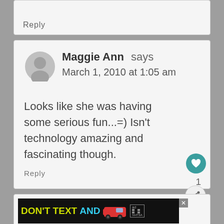Reply
Maggie Ann says
March 1, 2010 at 1:05 am
Looks like she was having some serious fun...=) Isn't technology amazing and fascinating though.
Reply
[Figure (infographic): DON'T TEXT AND [car image] advertisement banner with NHTSA logo and ad close button]
1